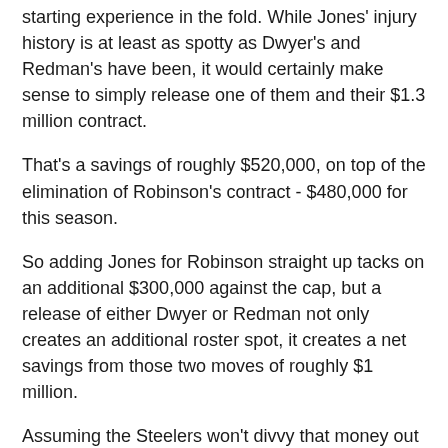starting experience in the fold. While Jones' injury history is at least as spotty as Dwyer's and Redman's have been, it would certainly make sense to simply release one of them and their $1.3 million contract.
That's a savings of roughly $520,000, on top of the elimination of Robinson's contract - $480,000 for this season.
So adding Jones for Robinson straight up tacks on an additional $300,000 against the cap, but a release of either Dwyer or Redman not only creates an additional roster spot, it creates a net savings from those two moves of roughly $1 million.
Assuming the Steelers won't divvy that money out to its fan base, it means little to them.